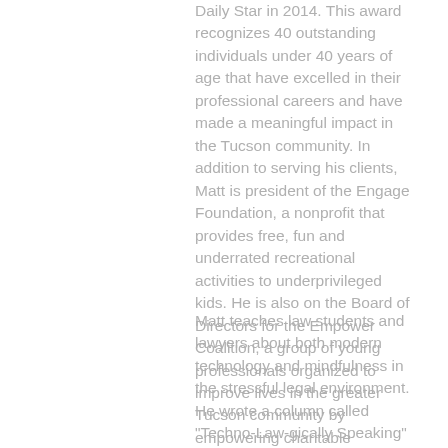Daily Star in 2014. This award recognizes 40 outstanding individuals under 40 years of age that have excelled in their professional careers and have made a meaningful impact in the Tucson community. In addition to serving his clients, Matt is president of the Engage Foundation, a nonprofit that provides free, fun and underrated recreational activities to underprivileged kids. He is also on the Board of Directors for the Empower Coalition, a group of young professionals organized to improve lives in the greater Tucson community by empowering charitable organizations with resources necessary to carrying out their missions.
Matt teaches law students and lawyers about both modern technology and mindfulness in the stressful legal environment. He wrote a column called "Techno-Law-gically Speaking" and now writes one called "Mind your Mind" in the Writ, the Pima County Bar Association Newsletter.